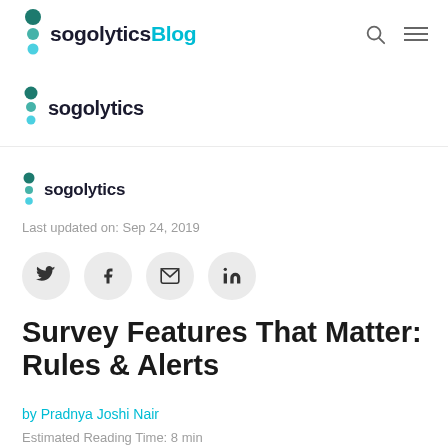sogolytics Blog
[Figure (logo): Sogolytics logo with teal dot icon and text 'sogolytics' in dropdown menu, shown twice]
Last updated on: Sep 24, 2019
[Figure (infographic): Social share buttons: Twitter, Facebook, Email, LinkedIn]
Survey Features That Matter: Rules & Alerts
by Pradnya Joshi Nair
Estimated Reading Time: 8 min